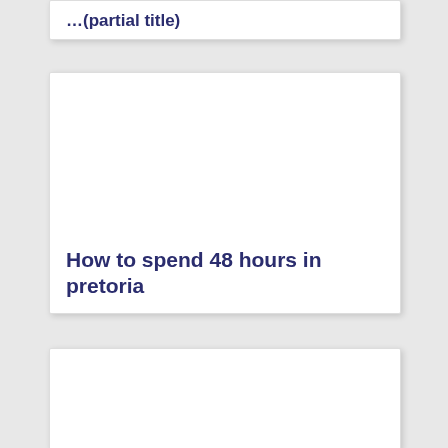…(partial title cropped)
How to spend 48 hours in pretoria